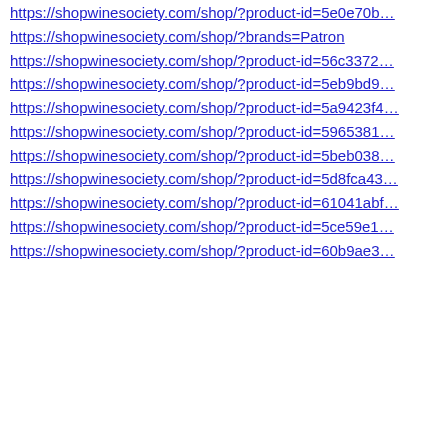https://shopwinesociety.com/shop/?product-id=5e0e70b…
https://shopwinesociety.com/shop/?brands=Patron
https://shopwinesociety.com/shop/?product-id=56c3372…
https://shopwinesociety.com/shop/?product-id=5eb9bd9…
https://shopwinesociety.com/shop/?product-id=5a9423f4…
https://shopwinesociety.com/shop/?product-id=5965381…
https://shopwinesociety.com/shop/?product-id=5beb038…
https://shopwinesociety.com/shop/?product-id=5d8fca43…
https://shopwinesociety.com/shop/?product-id=61041abf…
https://shopwinesociety.com/shop/?product-id=5ce59e1…
https://shopwinesociety.com/shop/?product-id=60b9ae3…